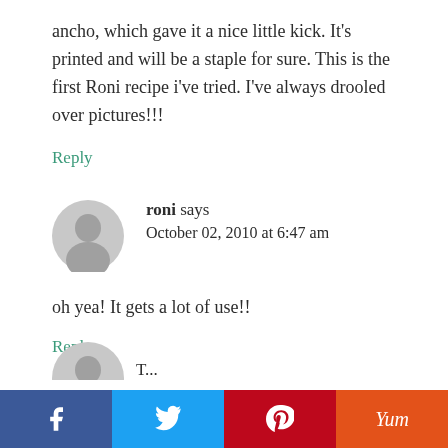ancho, which gave it a nice little kick. It's printed and will be a staple for sure. This is the first Roni recipe i've tried. I've always drooled over pictures!!!
Reply
roni says
October 02, 2010 at 6:47 am
oh yea! It gets a lot of use!!
Reply